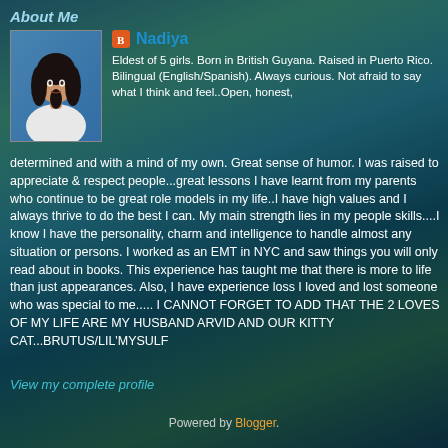About Me
[Figure (photo): Profile photo of Nadiya, a woman with long dark hair wearing a white outfit, posed against a blue background]
Nadiya
Eldest of 5 girls. Born in British Guyana. Raised in Puerto Rico. Bilingual (English/Spanish). Always curious. Not afraid to say what I think and feel..Open, honest, determined and with a mind of my own. Great sense of humor. I was raised to appreciate & respect people...great lessons I have learnt from my parents who continue to be great role models in my life..I have high values and I always thrive to do the best I can. My main strength lies in my people skills....I know I have the personality, charm and intelligence to handle almost any situation or persons. I worked as an EMT in NYC and saw things you will only read about in books. This experience has taught me that there is more to life than just appearances. Also, I have experience loss I loved and lost someone who was special to me..... I CANNOT FORGET TO ADD THAT THE 2 LOVES OF MY LIFE ARE MY HUSBAND ARVID AND OUR KITTY CAT...BRUTUS/LIL'MYSULF
View my complete profile
Powered by Blogger.